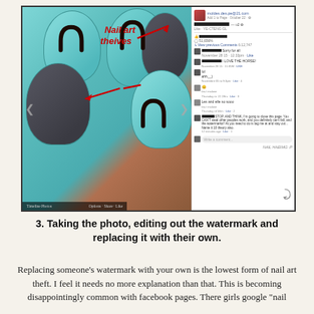[Figure (screenshot): Screenshot of a Facebook post showing nail art photos with horseshoe and horse designs on teal nails, with red arrow annotations pointing to 'Nail art theives' text, alongside a Facebook comments panel with blacked-out names.]
3. Taking the photo, editing out the watermark and replacing it with their own.
Replacing someone's watermark with your own is the lowest form of nail art theft. I feel it needs no more explanation than that. This is becoming disappointingly common with facebook pages. There girls google "nail